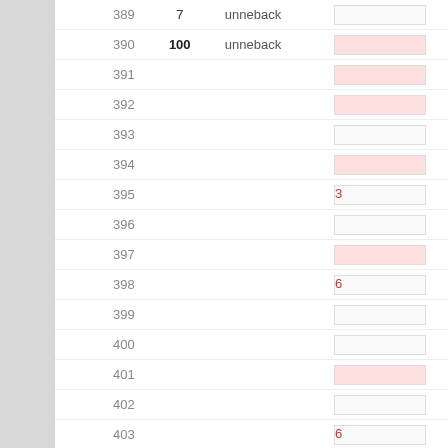| # | val | type | extra |
| --- | --- | --- | --- |
| 389 | 7 | unneback |  |
| 390 | 100 | unneback |  |
| 391 |  |  |  |
| 392 |  |  |  |
| 393 |  |  |  |
| 394 |  |  |  |
| 395 |  |  |  |
| 396 |  |  |  |
| 397 |  |  |  |
| 398 |  |  |  |
| 399 |  |  |  |
| 400 |  |  |  |
| 401 |  |  |  |
| 402 |  |  |  |
| 403 |  |  |  |
| 404 | 7 | unneback | e |
| 405 |  |  |  |
| 406 | 100 | unneback |  |
| 407 |  |  |  |
| 408 |  |  |  |
| 409 |  |  |  |